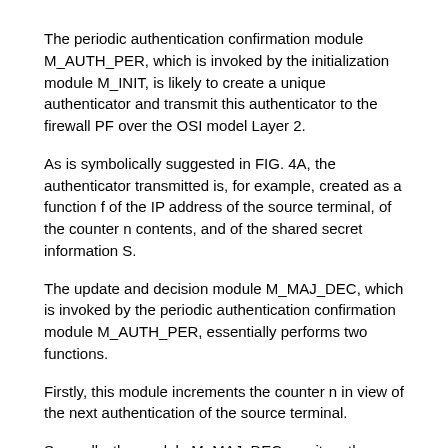The periodic authentication confirmation module M_AUTH_PER, which is invoked by the initialization module M_INIT, is likely to create a unique authenticator and transmit this authenticator to the firewall PF over the OSI model Layer 2.
As is symbolically suggested in FIG. 4A, the authenticator transmitted is, for example, created as a function f of the IP address of the source terminal, of the counter n contents, and of the shared secret information S.
The update and decision module M_MAJ_DEC, which is invoked by the periodic authentication confirmation module M_AUTH_PER, essentially performs two functions.
Firstly, this module increments the counter n in view of the next authentication of the source terminal.
Secondly, the module M_MAJ_DEC monitors the communication with the firewall, in order to terminate the connection should an error arise, and notably, in the case of prolonged silence by the firewall.
In the absence of errors, the M_MAJ_DEC re-invokes the